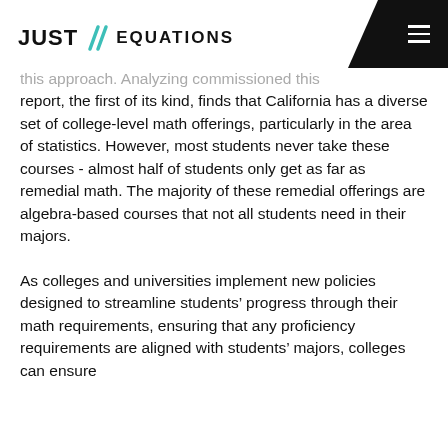JUST // EQUATIONS
this approach. Analyzing commissioned this report, the first of its kind, finds that California has a diverse set of college-level math offerings, particularly in the area of statistics. However, most students never take these courses - almost half of students only get as far as remedial math. The majority of these remedial offerings are algebra-based courses that not all students need in their majors.
As colleges and universities implement new policies designed to streamline students’ progress through their math requirements, ensuring that any proficiency requirements are aligned with students’ majors, colleges can ensure